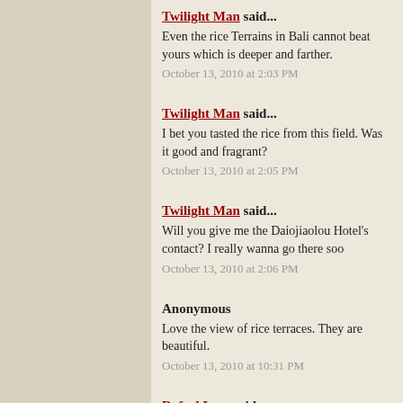Twilight Man said... Even the rice Terrains in Bali cannot beat yours which is deeper and farther. October 13, 2010 at 2:03 PM
Twilight Man said... I bet you tasted the rice from this field. Was it good and fragrant? October 13, 2010 at 2:05 PM
Twilight Man said... Will you give me the Daiojiaolou Hotel's contact? I really wanna go there soo October 13, 2010 at 2:06 PM
Anonymous Love the view of rice terraces. They are beautiful. October 13, 2010 at 10:31 PM
Rafael Lam said... Thanks foongpc! I'm glad that you like my photos! Nice to meet you! I find out your pictures need a long time to appear, may be you shall try the P convinient as you're using Blogspot! Btw, your trip is nice, photos are great! I also want to visit this Rice Terraces October 13, 2010 at 11:04 PM